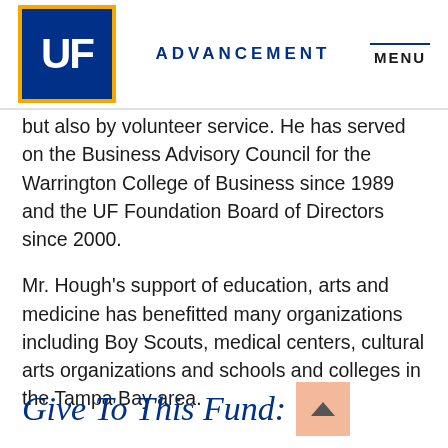UF ADVANCEMENT MENU
but also by volunteer service. He has served on the Business Advisory Council for the Warrington College of Business since 1989 and the UF Foundation Board of Directors since 2000.
Mr. Hough’s support of education, arts and medicine has benefitted many organizations including Boy Scouts, medical centers, cultural arts organizations and schools and colleges in the Tampa Bay area.
Give To This Fund: